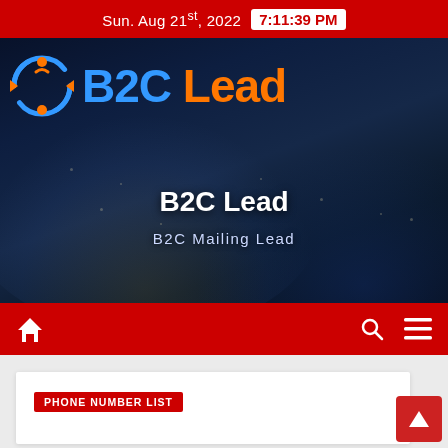Sun. Aug 21st, 2022  7:11:39 PM
[Figure (screenshot): B2C Lead website hero banner with logo (blue B2C and orange Lead text with circular arrow icon), site title 'B2C Lead', subtitle 'B2C Mailing Lead', dark earth-from-space background]
B2C Lead
B2C Mailing Lead
PHONE NUMBER LIST